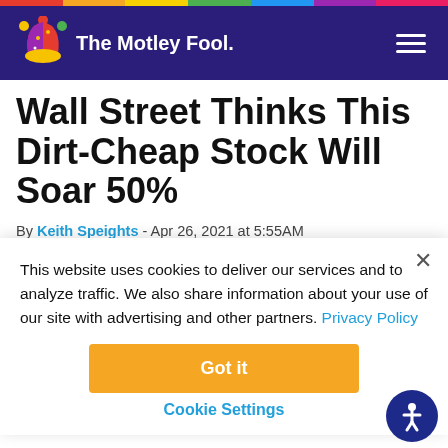The Motley Fool
Wall Street Thinks This Dirt-Cheap Stock Will Soar 50%
By Keith Speights - Apr 26, 2021 at 5:55AM
You're reading a free article with opinions that may differ
This website uses cookies to deliver our services and to analyze traffic. We also share information about your use of our site with advertising and other partners. Privacy Policy
Got it
Cookie Settings